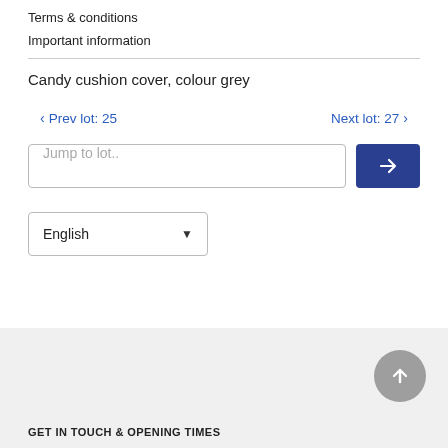Terms & conditions
Important information
Candy cushion cover, colour grey
< Prev lot: 25    Next lot: 27 >
Jump to lot..
English
GET IN TOUCH & OPENING TIMES